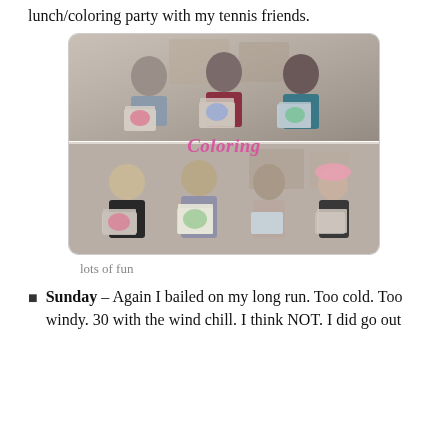lunch/coloring party with my tennis friends.
[Figure (photo): Two group photos of women holding colorful coloring book pages. Top photo shows three women smiling and holding their colored artwork. Bottom photo shows four women smiling and holding their artwork. A pink cursive watermark 'Coloring' overlays the junction of the two photos.]
lots of fun
Sunday – Again I bailed on my long run. Too cold. Too windy. 30 with the wind chill. I think NOT. I did go out